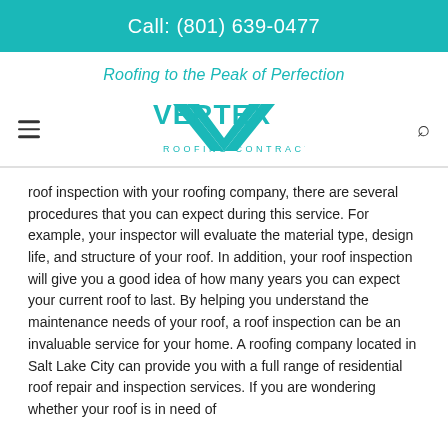Call: (801) 639-0477
Roofing to the Peak of Perfection
[Figure (logo): Vertex Roofing Contractors logo in teal color with a stylized V shape and text 'VERTEX ROOFING CONTRACTORS']
roof inspection with your roofing company, there are several procedures that you can expect during this service. For example, your inspector will evaluate the material type, design life, and structure of your roof. In addition, your roof inspection will give you a good idea of how many years you can expect your current roof to last. By helping you understand the maintenance needs of your roof, a roof inspection can be an invaluable service for your home. A roofing company located in Salt Lake City can provide you with a full range of residential roof repair and inspection services. If you are wondering whether your roof is in need of